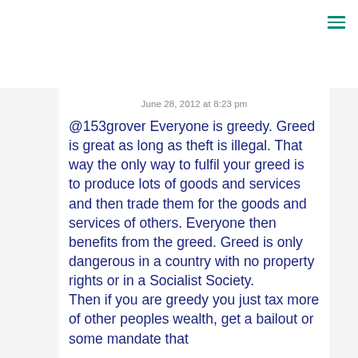June 28, 2012 at 8:23 pm
@153grover Everyone is greedy. Greed is great as long as theft is illegal. That way the only way to fulfil your greed is to produce lots of goods and services and then trade them for the goods and services of others. Everyone then benefits from the greed. Greed is only dangerous in a country with no property rights or in a Socialist Society.
Then if you are greedy you just tax more of other peoples wealth, get a bailout or some mandate that